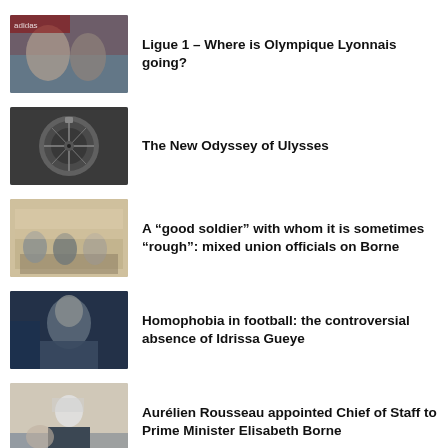[Figure (photo): Two men at what appears to be a press conference, one with hand to face]
Ligue 1 – Where is Olympique Lyonnais going?
[Figure (photo): Close-up of a luxury wristwatch on dark background]
The New Odyssey of Ulysses
[Figure (photo): People seated around a table in a formal meeting room]
A “good soldier” with whom it is sometimes “rough”: mixed union officials on Borne
[Figure (photo): A football player in blue jersey, close-up portrait]
Homophobia in football: the controversial absence of Idrissa Gueye
[Figure (photo): Man in suit and mask with others behind him]
Aurélien Rousseau appointed Chief of Staff to Prime Minister Elisabeth Borne